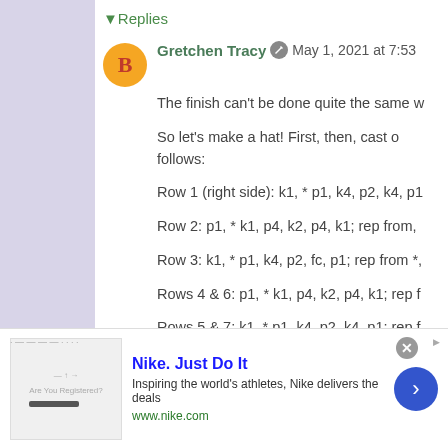Replies
Gretchen Tracy  May 1, 2021 at 7:53
The finish can't be done quite the same w
So let's make a hat! First, then, cast o follows:
Row 1 (right side): k1, * p1, k4, p2, k4, p1
Row 2: p1, * k1, p4, k2, p4, k1; rep from,
Row 3: k1, * p1, k4, p2, fc, p1; rep from *,
Rows 4 & 6: p1, * k1, p4, k2, p4, k1; rep f
Rows 5 & 7: k1, * p1, k4, p2, k4, p1; rep f
Row 8: k1, * p1, fc, p2, k4, p1; rep fr *
[Figure (infographic): Nike advertisement banner with logo image, 'Nike. Just Do It' headline, description text, www.nike.com URL, close button, and blue arrow button]